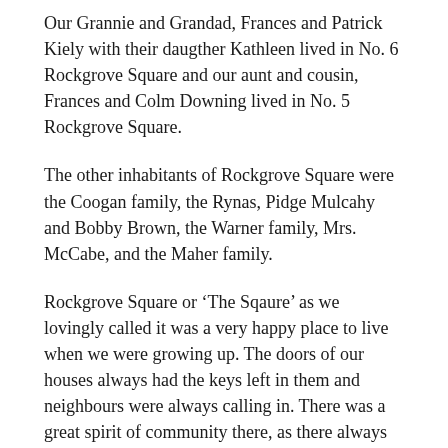Our Grannie and Grandad, Frances and Patrick Kiely with their daugther Kathleen lived in No. 6 Rockgrove Square and our aunt and cousin, Frances and Colm Downing lived in No. 5 Rockgrove Square.
The other inhabitants of Rockgrove Square were the Coogan family, the Rynas, Pidge Mulcahy and Bobby Brown, the Warner family, Mrs. McCabe, and the Maher family.
Rockgrove Square or ‘The Sqaure’ as we lovingly called it was a very happy place to live when we were growing up. The doors of our houses always had the keys left in them and neighbours were always calling in. There was a great spirit of community there, as there always was, on the whole of the Lower Road.